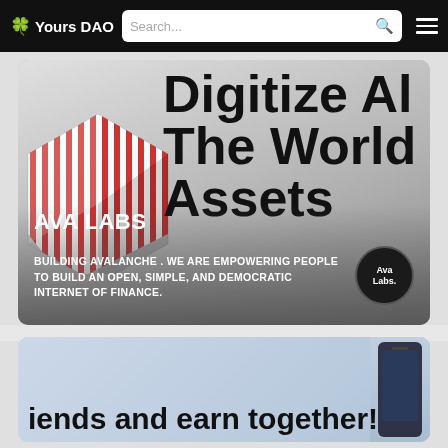🍀 Yours DAO  [Search...]  ☰
[Figure (screenshot): AVA LABS promotional card. Background shows a red-and-white striped cubic shape on the left, and large bold text 'Digitize All The World's Assets' on the right on a gray gradient background. Over the bottom portion: 'AVA LABS' in large white bold text, and subtitle 'BUILDING AVALANCHE . WE ARE EMPOWERING PEOPLE TO BUILD AN OPEN, SIMPLE, AND DEMOCRATIC INTERNET OF FINANCE.' with a dark circular Ava Labs badge on lower right.]
[Figure (screenshot): Second card partially visible showing 'iends and earn together!' in large black bold text on a light blue-gray gradient background with a phone graphic on the right edge.]